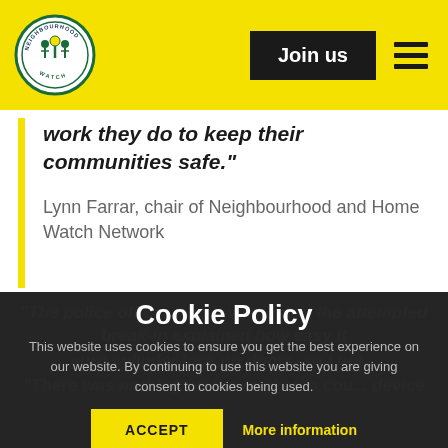[Figure (logo): Neighbourhood Watch circular logo with blue and green border and figures]
Join us
work they do to keep their communities safe."
Lynn Farrar, chair of Neighbourhood and Home Watch Network
"The police officer who investigated the attempted break-in explained how easy it [was to get in using a] euro cylinder lock on doors, so I got... "There was nothing on the market to cou... device
Cookie Policy
This website uses cookies to ensure you get the best experience on our website. By continuing to use this website you are giving consent to cookies being used.
ACCEPT
More information